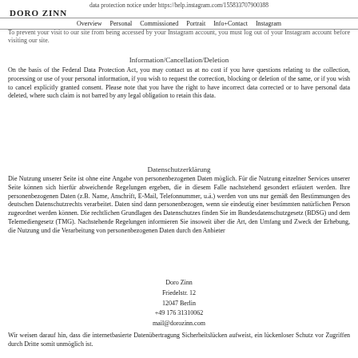data protection notice under https://help.instagram.com/155833707900388
DORO ZINN
Overview  Personal  Commissioned  Portrait  Info+Contact  Instagram
To prevent your visit to our site from being accessed by your Instagram account, you must log out of your Instagram account before visiting our site.
Information/Cancellation/Deletion
On the basis of the Federal Data Protection Act, you may contact us at no cost if you have questions relating to the collection, processing or use of your personal information, if you wish to request the correction, blocking or deletion of the same, or if you wish to cancel explicitly granted consent. Please note that you have the right to have incorrect data corrected or to have personal data deleted, where such claim is not barred by any legal obligation to retain this data.
Datenschutzerklärung
Die Nutzung unserer Seite ist ohne eine Angabe von personenbezogenen Daten möglich. Für die Nutzung einzelner Services unserer Seite können sich hierfür abweichende Regelungen ergeben, die in diesem Falle nachstehend gesondert erläutert werden. Ihre personenbezogenen Daten (z.B. Name, Anschrift, E-Mail, Telefonnummer, u.ä.) werden von uns nur gemäß den Bestimmungen des deutschen Datenschutzrechts verarbeitet. Daten sind dann personenbezogen, wenn sie eindeutig einer bestimmten natürlichen Person zugeordnet werden können. Die rechtlichen Grundlagen des Datenschutzes finden Sie im Bundesdatenschutzgesetz (BDSG) und dem Telemediengesetz (TMG). Nachstehende Regelungen informieren Sie insoweit über die Art, den Umfang und Zweck der Erhebung, die Nutzung und die Verarbeitung von personenbezogenen Daten durch den Anbieter
Doro Zinn
Friedelstr. 12
12047 Berlin
+49 176 31310062
mail@dorozinn.com
Wir weisen darauf hin, dass die internetbasierte Datenübertragung Sicherheitslücken aufweist, ein lückenloser Schutz vor Zugriffen durch Dritte somit unmöglich ist.